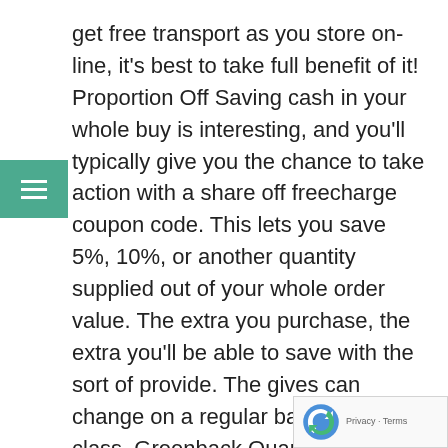get free transport as you store on-line, it's best to take full benefit of it! Proportion Off Saving cash in your whole buy is interesting, and you'll typically give you the chance to take action with a share off freecharge coupon code. This lets you save 5%, 10%, or another quantity supplied out of your whole order value. The extra you purchase, the extra you'll be able to save with the sort of provide. The gives can change on a regular basis on this class. Greenback Quantity It's also possible to lower your expenses utilizing a Freecharge coupon code for a sure greenback quantity off. Usually, the extra you spend the extra that greenback quantity is. For instance, you could save $5 off a $50 order or $20 off a $100 order. Normally, such a sugges